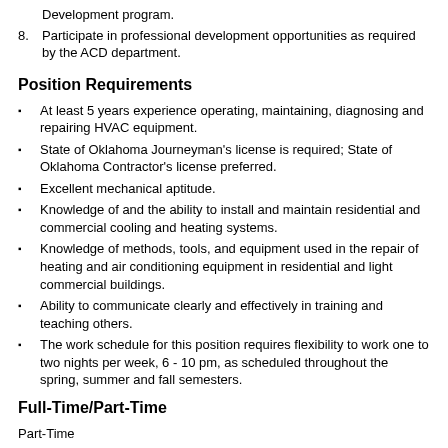Development program.
8. Participate in professional development opportunities as required by the ACD department.
Position Requirements
At least 5 years experience operating, maintaining, diagnosing and repairing HVAC equipment.
State of Oklahoma Journeyman's license is required; State of Oklahoma Contractor's license preferred.
Excellent mechanical aptitude.
Knowledge of and the ability to install and maintain residential and commercial cooling and heating systems.
Knowledge of methods, tools, and equipment used in the repair of heating and air conditioning equipment in residential and light commercial buildings.
Ability to communicate clearly and effectively in training and teaching others.
The work schedule for this position requires flexibility to work one to two nights per week, 6 - 10 pm, as scheduled throughout the spring, summer and fall semesters.
Full-Time/Part-Time
Part-Time